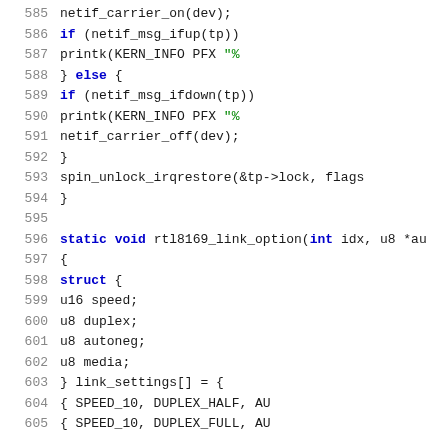Source code listing, lines 585–605, C language kernel driver code for rtl8169 network driver